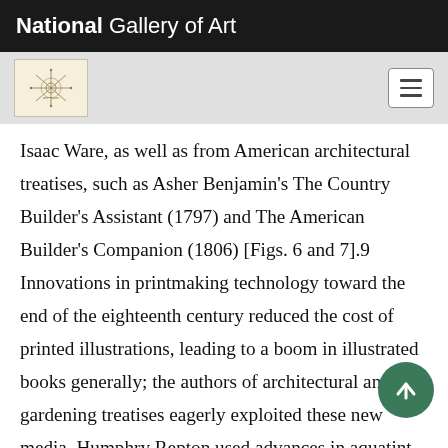National Gallery of Art
[Figure (logo): National Gallery of Art decorative compass-rose logo mark in beige/tan square]
Isaac Ware, as well as from American architectural treatises, such as Asher Benjamin's The Country Builder's Assistant (1797) and The American Builder's Companion (1806) [Figs. 6 and 7].9 Innovations in printmaking technology toward the end of the eighteenth century reduced the cost of printed illustrations, leading to a boom in illustrated books generally; the authors of architectural and gardening treatises eagerly exploited these new media. Humphry Repton used advances in aquatint publishing to produce his Sketches and Hints on Landscape Gardening (1794), Observations on the Theory and Practice of Landscape Gardening (1803), and Fragments on the Theory and Practice of Landscape